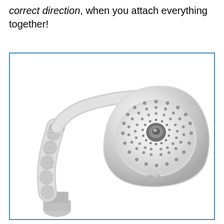correct direction, when you attach everything together!
[Figure (photo): A brushed nickel finish shower head with a curved arm/handle, shown at an angle. The shower head is large and round with concentric rings of nozzles, displayed against a white background inside a blue-bordered box.]